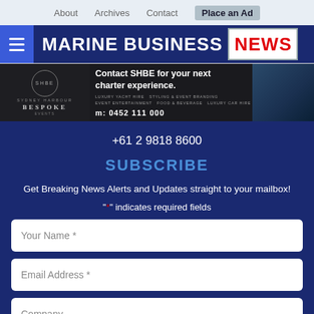About | Archives | Contact | Place an Ad
[Figure (logo): Marine Business News logo with hamburger menu, dark blue background, red NEWS text]
[Figure (infographic): SHBE Bespoke Events banner ad: Contact SHBE for your next charter experience. m: 0452 111 000]
+61 2 9818 8600
SUBSCRIBE
Get Breaking News Alerts and Updates straight to your mailbox!
"*" indicates required fields
Your Name *
Email Address *
Company